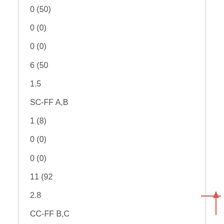0 (50)
0 (0)
0 (0)
6 (50
1.5
SC-FF A,B
1 (8)
0 (0)
0 (0)
11 (92
2.8
CC-FF B,C